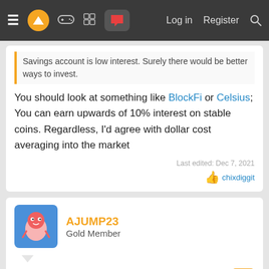Log in  Register
Savings account is low interest. Surely there would be better ways to invest.
You should look at something like BlockFi or Celsius; You can earn upwards of 10% interest on stable coins. Regardless, I'd agree with dollar cost averaging into the market
Last edited: Dec 7, 2021
chixdiggit
AJUMP23
Gold Member
Dec 7, 2021
6k into a Roth IRA
Spend some so you can get it out of your system
Pay off some debt